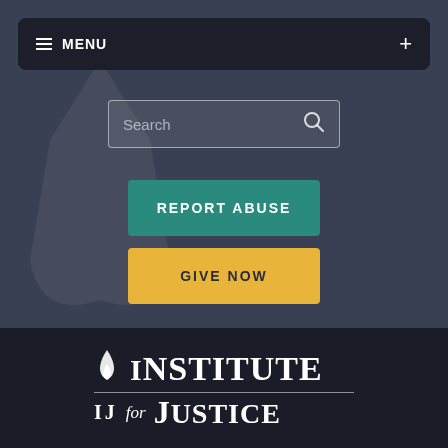≡ MENU  +
[Figure (screenshot): Search input box with magnifying glass icon]
REPORT ABUSE
GIVE NOW
[Figure (infographic): Social media icons: Facebook, Twitter, YouTube, Instagram]
[Figure (logo): Institute for Justice (IJ) logo with flame, white text on dark background]